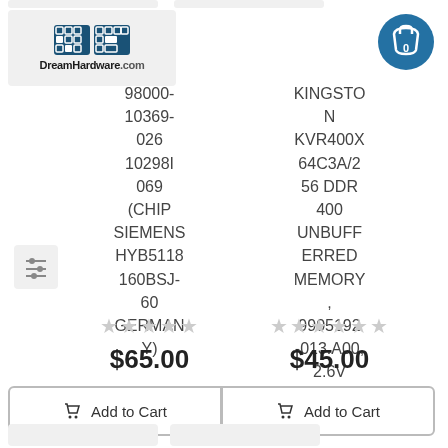[Figure (logo): DreamHardware.com logo with pixel/grid icon squares in blue]
[Figure (logo): Shopping cart icon showing 0 items]
[Figure (other): Filter/settings sliders icon]
98000-10369-026
10298I
069
(CHIP SIEMENS HYB5118160BSJ-60 GERMANY)
KINGSTON KVR400X64C3A/256 DDR 400 UNBUFFERED MEMORY, 9905192-013.A00, 2.6V
★★★★★
$65.00
★★★★★
$45.00
Add to Cart
Add to Cart